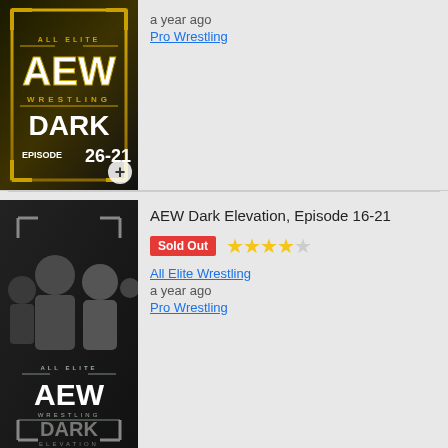[Figure (photo): AEW Dark Episode 26-21 thumbnail showing the AEW Dark logo on a dark gold background]
a year ago
Pro Wrestling
[Figure (photo): AEW Dark Elevation Episode 16-21 thumbnail showing wrestlers in dark grayscale style]
AEW Dark Elevation, Episode 16-21
Sold Out
★★★★☆
All Elite Wrestling
a year ago
Pro Wrestling